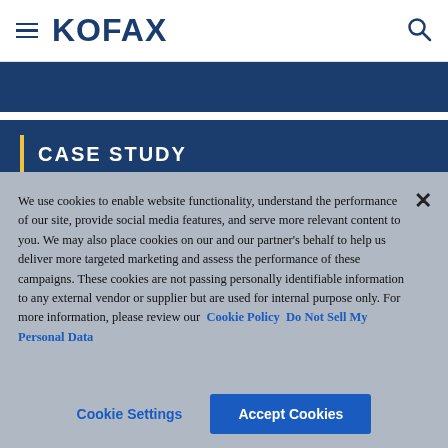KOFAX
CASE STUDY
We use cookies to enable website functionality, understand the performance of our site, provide social media features, and serve more relevant content to you. We may also place cookies on our and our partner's behalf to help us deliver more targeted marketing and assess the performance of these campaigns. These cookies are not passing personally identifiable information to any external vendor or supplier but are used for internal purpose only. For more information, please review our Cookie Policy  Do Not Sell My Personal Data
Cookie Settings
Accept Cookies